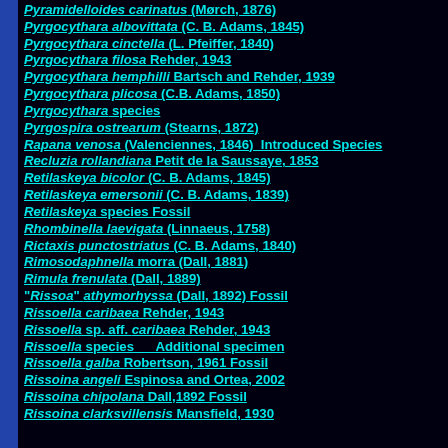Pyramidelloides carinatus (Mørch, 1876)
Pyrgocythara albovittata (C. B. Adams, 1845)
Pyrgocythara cinctella (L. Pfeiffer, 1840)
Pyrgocythara filosa Rehder, 1943
Pyrgocythara hemphilli Bartsch and Rehder, 1939
Pyrgocythara plicosa (C.B. Adams, 1850)
Pyrgocythara species
Pyrgospira ostrearum (Stearns, 1872)
Rapana venosa (Valenciennes, 1846)  Introduced Species
Recluzia rollandiana Petit de la Saussaye, 1853
Retilaskeya bicolor (C. B. Adams, 1845)
Retilaskeya emersonii (C. B. Adams, 1839)
Retilaskeya species Fossil
Rhombinella laevigata (Linnaeus, 1758)
Rictaxis punctostriatus (C. B. Adams, 1840)
Rimosodaphnella morra (Dall, 1881)
Rimula frenulata (Dall, 1889)
"Rissoa" athymorhyssa (Dall, 1892) Fossil
Rissoella caribaea Rehder, 1943
Rissoella sp. aff. caribaea Rehder, 1943
Rissoella species    Additional specimen
Rissoella galba Robertson, 1961 Fossil
Rissoina angeli Espinosa and Ortea, 2002
Rissoina chipolana Dall,1892 Fossil
Rissoina clarksvillensis Mansfield, 1930